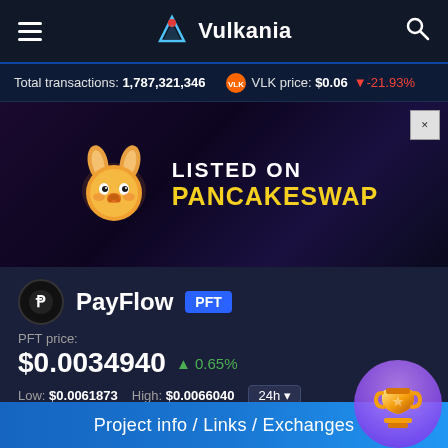Vulkania
Total transactions: 1,787,321,346  VLK price: $0.06 -21.93%
[Figure (illustration): PancakeSwap promotional banner showing pancake bunny mascot logo with text 'LISTED ON PANCAKESWAP' in white and yellow]
PayFlow PFT
PFT price:
$0.0034940  0.65%
Low: $0.0061873  High: $0.0066040  24h
Contract: 0xe3B42852a85d3...  D
Project info / Links / Exchanges